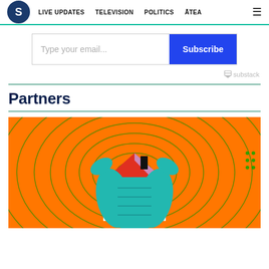S | LIVE UPDATES  TELEVISION  POLITICS  ĀTEA  ≡
Type your email...
Subscribe
substack
Partners
[Figure (illustration): Colorful illustration on orange background with green wavy concentric lines, showing a person in a teal puffer jacket holding up a model house with red and pink roof and white walls with windows.]